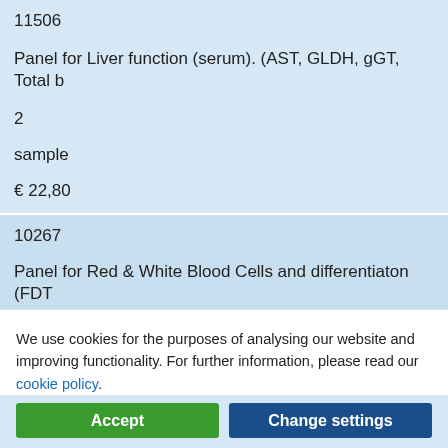11506
Panel for Liver function (serum). (AST, GLDH, gGT, Total B...
2
sample
€ 22,80
10267
Panel for Red & White Blood Cells and differentiaton (FDT...
We use cookies for the purposes of analysing our website and improving functionality. For further information, please read our cookie policy.
Accept
Change settings